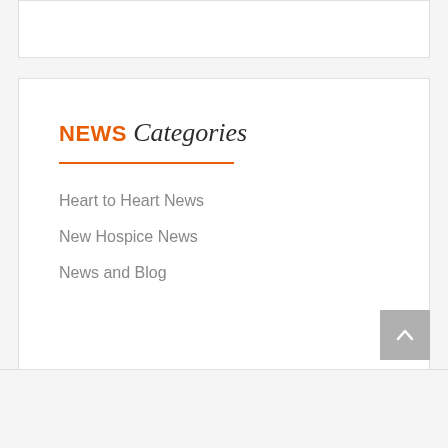NEWS Categories
Heart to Heart News
New Hospice News
News and Blog